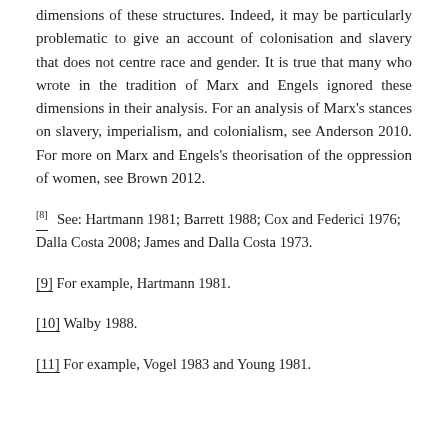dimensions of these structures. Indeed, it may be particularly problematic to give an account of colonisation and slavery that does not centre race and gender. It is true that many who wrote in the tradition of Marx and Engels ignored these dimensions in their analysis. For an analysis of Marx's stances on slavery, imperialism, and colonialism, see Anderson 2010. For more on Marx and Engels's theorisation of the oppression of women, see Brown 2012.
[8] See: Hartmann 1981; Barrett 1988; Cox and Federici 1976; Dalla Costa 2008; James and Dalla Costa 1973.
[9] For example, Hartmann 1981.
[10] Walby 1988.
[11] For example, Vogel 1983 and Young 1981.